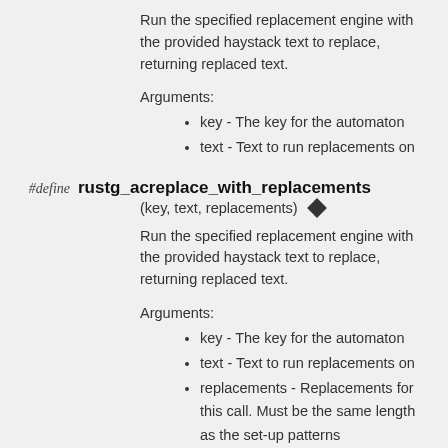Run the specified replacement engine with the provided haystack text to replace, returning replaced text.
Arguments:
key - The key for the automaton
text - Text to run replacements on
#define rustg_acreplace_with_replacements (key, text, replacements)
Run the specified replacement engine with the provided haystack text to replace, returning replaced text.
Arguments:
key - The key for the automaton
text - Text to run replacements on
replacements - Replacements for this call. Must be the same length as the set-up patterns